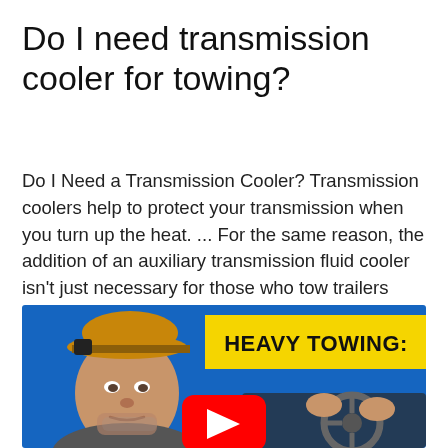Do I need transmission cooler for towing?
Do I Need a Transmission Cooler? Transmission coolers help to protect your transmission when you turn up the heat. ... For the same reason, the addition of an auxiliary transmission fluid cooler isn't just necessary for those who tow trailers anymore.
[Figure (screenshot): YouTube video thumbnail showing a man in a tan baseball cap on the left against a blue background, a yellow banner with bold black text 'HEAVY TOWING:' on the upper right, a red YouTube play button in the center, and a person's hands gripping a steering wheel on the lower right.]